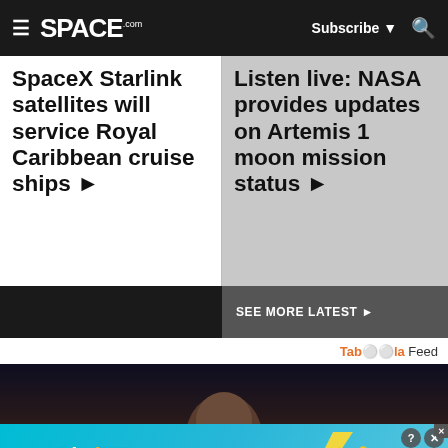SPACE.com — Subscribe | Search
SpaceX Starlink satellites will service Royal Caribbean cruise ships ▶
Listen live: NASA provides updates on Artemis 1 moon mission status ▶
SEE MORE LATEST ▶
Taboola Feed
[Figure (photo): Dark photo showing a person's head silhouette]
[Figure (infographic): BitLife advertisement banner — NOW WITH GOD MODE]